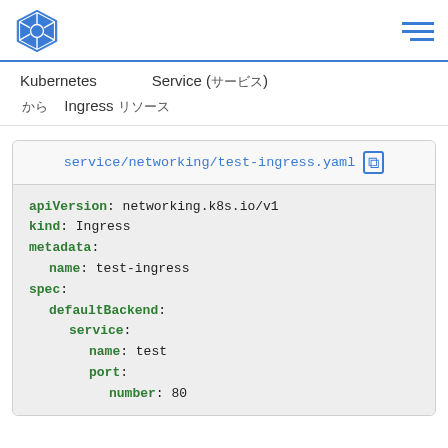Kubernetes logo and hamburger menu
Kubernetes Service (サービス) から Ingress リソース
[Figure (screenshot): Code block showing a Kubernetes Ingress YAML file: service/networking/test-ingress.yaml with apiVersion: networking.k8s.io/v1, kind: Ingress, metadata: name: test-ingress, spec: defaultBackend: service: name: test, port: number: 80]